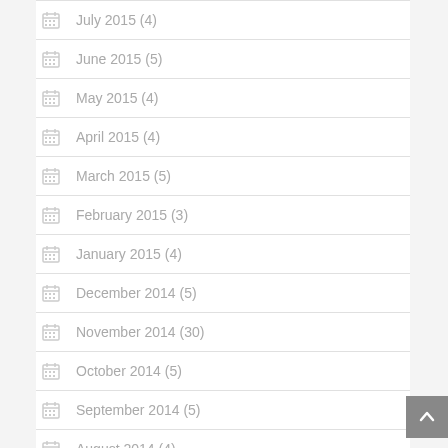July 2015 (4)
June 2015 (5)
May 2015 (4)
April 2015 (4)
March 2015 (5)
February 2015 (3)
January 2015 (4)
December 2014 (5)
November 2014 (30)
October 2014 (5)
September 2014 (5)
August 2014 (4)